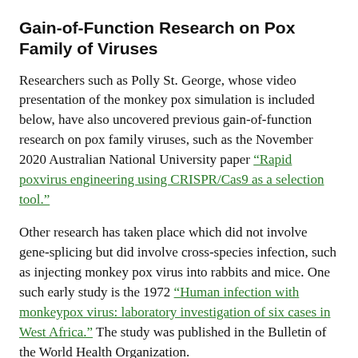Gain-of-Function Research on Pox Family of Viruses
Researchers such as Polly St. George, whose video presentation of the monkey pox simulation is included below, have also uncovered previous gain-of-function research on pox family viruses, such as the November 2020 Australian National University paper “Rapid poxvirus engineering using CRISPR/Cas9 as a selection tool.”
Other research has taken place which did not involve gene-splicing but did involve cross-species infection, such as injecting monkey pox virus into rabbits and mice. One such early study is the 1972 “Human infection with monkeypox virus: laboratory investigation of six cases in West Africa.” The study was published in the Bulletin of the World Health Organization.
In the video below, independent researcher Polly St. George a.k.a. “Amazing Polly” takes a deep dive into the persons and